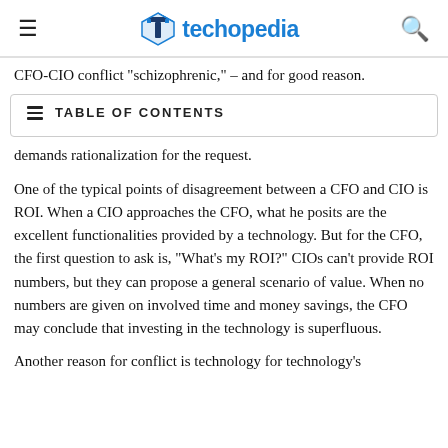techopedia
CFO-CIO conflict "schizophrenic," – and for good reason.
| TABLE OF CONTENTS |
| --- |
demands rationalization for the request.
One of the typical points of disagreement between a CFO and CIO is ROI. When a CIO approaches the CFO, what he posits are the excellent functionalities provided by a technology. But for the CFO, the first question to ask is, "What's my ROI?" CIOs can't provide ROI numbers, but they can propose a general scenario of value. When no numbers are given on involved time and money savings, the CFO may conclude that investing in the technology is superfluous.
Another reason for conflict is technology for technology's